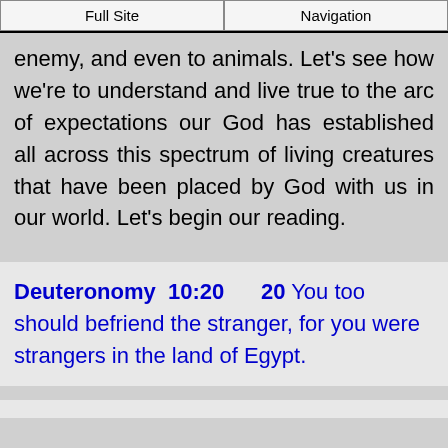Full Site | Navigation
enemy, and even to animals. Let's see how we're to understand and live true to the arc of expectations our God has established all across this spectrum of living creatures that have been placed by God with us in our world. Let's begin our reading.
Deuteronomy 10:20  20 You too should befriend the stranger, for you were strangers in the land of Egypt.